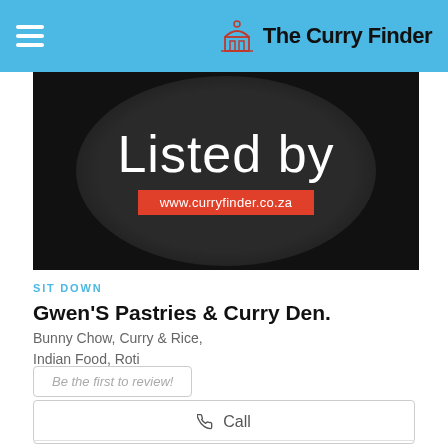The Curry Finder
[Figure (logo): Listed by badge: dark circular background with white text 'Listed by' and red banner showing www.curryfinder.co.za]
SIT DOWN
Gwen'S Pastries & Curry Den.
Bunny Chow, Curry & Rice, Indian Food, Roti
Be the first to review!
Call